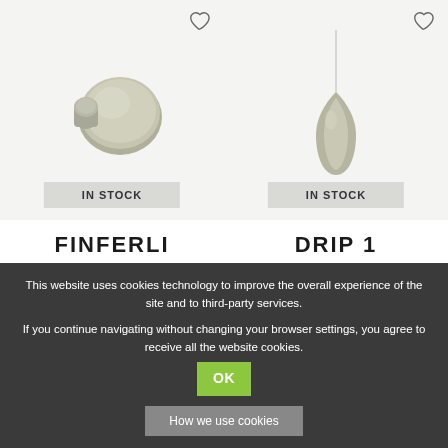[Figure (photo): Product image of FINFERLI wall hook/knob, matte grey-green mushroom shape, on light grey background with IN STOCK badge and heart icon]
[Figure (photo): Product image of DRIP 1 pendant lamp, teardrop shaped, matte grey-green, hanging from a cord, on light grey background with IN STOCK badge and heart icon]
FINFERLI
DRIP 1
Ex.t
Ex.t
This website uses cookies technology to improve the overall experience of the site and to third-party services.
If you continue navigating without changing your browser settings, you agree to receive all the website cookies.
How we use cookies